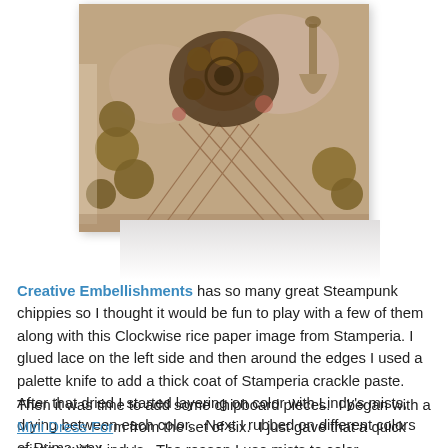[Figure (photo): A detailed steampunk mixed media art piece featuring layered flowers, gears, lace, chipboard pieces, and crackle paste on a textured background with a dress form silhouette.]
Creative Embellishments has so many great Steampunk chippies so I thought it would be fun to play with a few of them along with this Clockwise rice paper image from Stamperia. I glued lace on the left side and then around the edges I used a palette knife to add a thick coat of Stamperia crackle paste.  After that dried I started layering on color with Lindy's mists, drying between each color.   Next I rubbed on different colors of Prima wax.
Then it was time to add some chipboard pieces.  I began with a Mini Dress Form from the set of six.  I just gave that a quick misting with Lindy's.  The reason I use mists to color